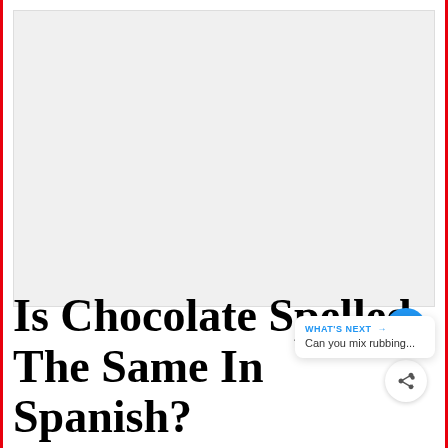[Figure (photo): Large image placeholder area at the top of the page, appears as a light gray rectangle]
Is Chocolate Spelled The Same In Spanish?